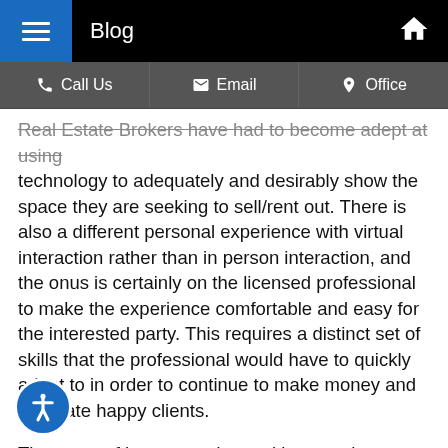Blog
Call Us | Email | Office
Real Estate Brokers have had to become adept at using technology to adequately and desirably show the space they are seeking to sell/rent out. There is also a different personal experience with virtual interaction rather than in person interaction, and the onus is certainly on the licensed professional to make the experience comfortable and easy for the interested party. This requires a distinct set of skills that the professional would have to quickly adapt to in order to continue to make money and generate happy clients.
The types of houses and amenities people are seeking out has also changed. With many individuals working from home for the foreseeable future, and some possibly permanently, having a space for a home office is absolutely vital. Because of the prevalence of working from home, individuals who would not normally seek quieter spaces are doing so, which can be a